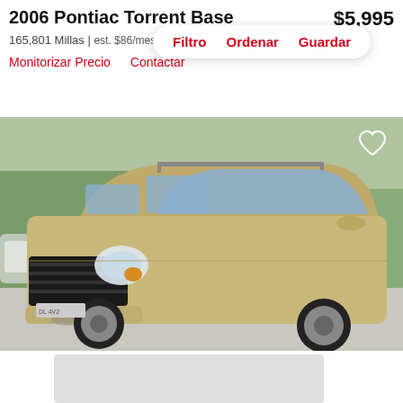2006 Pontiac Torrent Base
$5,995
165,801 Millas | est. $86/mes
Filtro  Ordenar  Guardar
Monitorizar Precio   Contactar
[Figure (photo): 2006 Pontiac Torrent SUV in gold/champagne color parked on a parking lot, front three-quarter view, with trees in background.]
[Figure (photo): Partially visible gray placeholder image at the bottom of the page.]